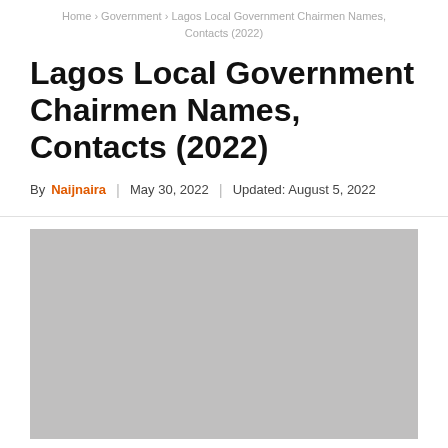Home › Government › Lagos Local Government Chairmen Names, Contacts (2022)
Lagos Local Government Chairmen Names, Contacts (2022)
By Naijnaira | May 30, 2022 | Updated: August 5, 2022
[Figure (photo): Gray placeholder image for article featured photo]